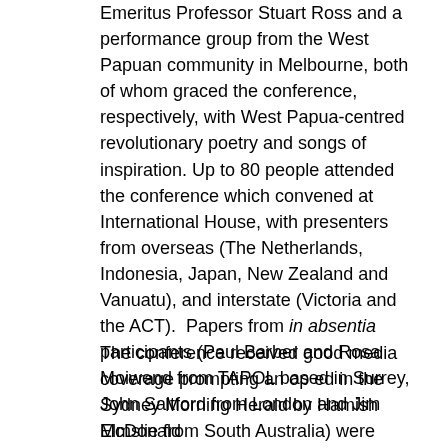Emeritus Professor Stuart Ross and a performance group from the West Papuan community in Melbourne, both of whom graced the conference, respectively, with West Papua-centred revolutionary poetry and songs of inspiration. Up to 80 people attended the conference which convened at International House, with presenters from overseas (The Netherlands, Indonesia, Japan, New Zealand and Vanuatu), and interstate (Victoria and the ACT). Papers from in absentia participants (Paul Barber and Rosa Moiwend from TAPOL based in Surrey, John Saltford from London and Jim Elmslie from South Australia) were presented on their behalf, and Eben Kirksey, currently based in Florida, addressed the conference via video link.
The conference received good media coverage prompting an op ed in the Sydney Morning Herald by Hamish McDonald